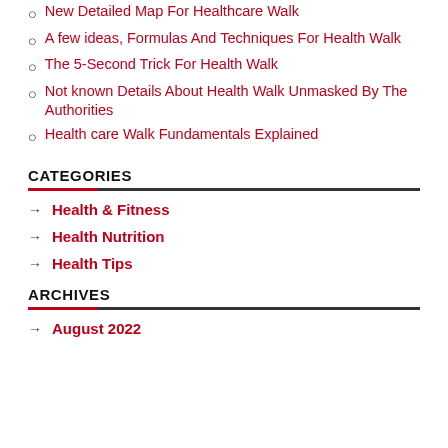New Detailed Map For Healthcare Walk
A few ideas, Formulas And Techniques For Health Walk
The 5-Second Trick For Health Walk
Not known Details About Health Walk Unmasked By The Authorities
Health care Walk Fundamentals Explained
CATEGORIES
Health & Fitness
Health Nutrition
Health Tips
ARCHIVES
August 2022